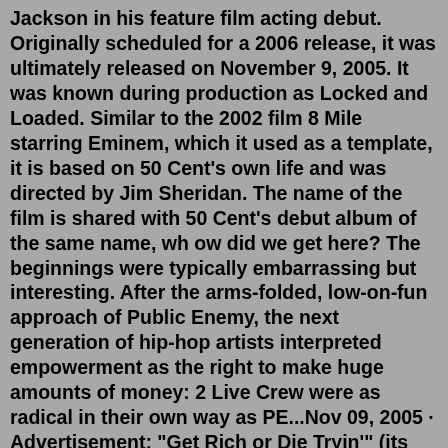Jackson in his feature film acting debut. Originally scheduled for a 2006 release, it was ultimately released on November 9, 2005. It was known during production as Locked and Loaded. Similar to the 2002 film 8 Mile starring Eminem, which it used as a template, it is based on 50 Cent's own life and was directed by Jim Sheridan. The name of the film is shared with 50 Cent's debut album of the same name, wh ow did we get here? The beginnings were typically embarrassing but interesting. After the arms-folded, low-on-fun approach of Public Enemy, the next generation of hip-hop artists interpreted empowerment as the right to make huge amounts of money: 2 Live Crew were as radical in their own way as PE...Nov 09, 2005 · Advertisement: "Get Rich or Die Tryin'" (its script is by Terence Winter) is glancingly biographical, incorporating elements of Jackson's real-life story: He was born and raised in Queens ... Feb 16, 2022 · Despite his continuing misfortunes, Fiddy resolved to get rich or die tryin',